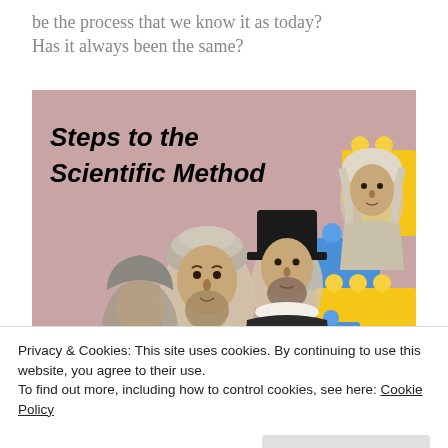be the process that we know it as today? Has it always been the same?
[Figure (illustration): Illustration titled 'Steps to the Scientific Method' showing historical scientists (figures in historical dress including turbans and Elizabethan collars) alongside colorful LEGO bricks on a pink background.]
Privacy & Cookies: This site uses cookies. By continuing to use this website, you agree to their use.
To find out more, including how to control cookies, see here: Cookie Policy
Close and accept